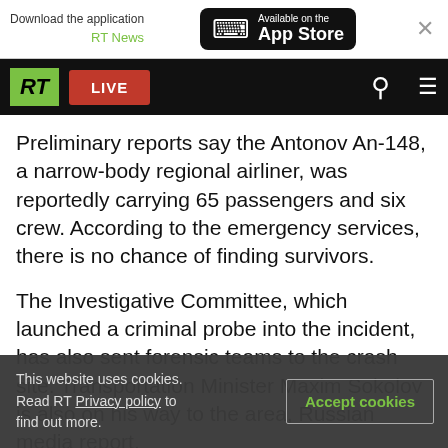[Figure (screenshot): App Store download banner with RT News label and Available on the App Store button, with close X]
[Figure (screenshot): RT news website navigation bar with green RT logo, red LIVE button, search icon, and hamburger menu on black background]
Preliminary reports say the Antonov An-148, a narrow-body regional airliner, was reportedly carrying 65 passengers and six crew. According to the emergency services, there is no chance of finding survivors.
The Investigative Committee, which launched a criminal probe into the incident, has also sent forensic teams to the crash site. Transportation Minister Maxim Sokolov is also on his way to the area, Russian media report.
This website uses cookies. Read RT Privacy policy to find out more. Accept cookies